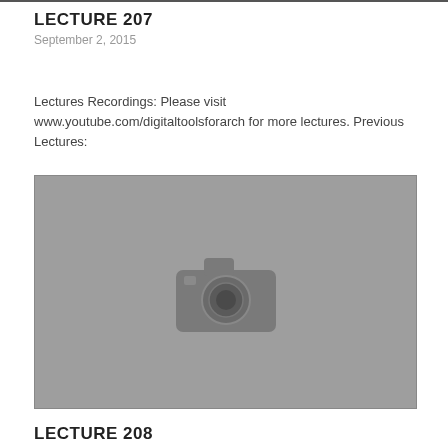LECTURE 207
September 2, 2015
Lectures Recordings: Please visit www.youtube.com/digitaltoolsforarch for more lectures. Previous Lectures:
[Figure (photo): Gray placeholder image with a camera icon in the center, representing an embedded lecture video or photo.]
LECTURE 208